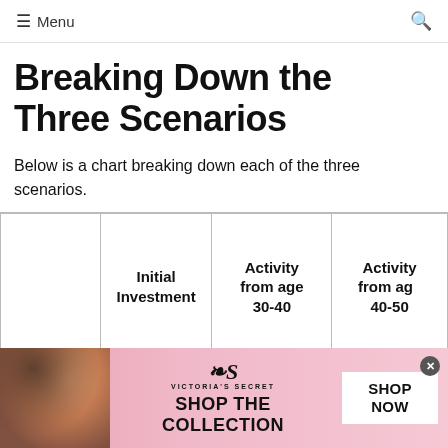≡ Menu  🔍
Breaking Down the Three Scenarios
Below is a chart breaking down each of the three scenarios.
|  | Initial Investment | Activity from age 30-40 | Activity from age 40-50 |
| --- | --- | --- | --- |
|  |  |  |  |
[Figure (photo): Victoria's Secret advertisement banner with model photo, VS logo, 'SHOP THE COLLECTION' text and 'SHOP NOW' button]